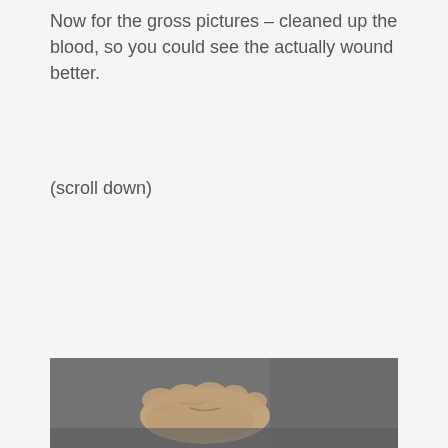Now for the gross pictures – cleaned up the blood, so you could see the actually wound better.
(scroll down)
[Figure (photo): A close-up photograph of a human foot/toes resting on a gray carpet, showing a wound area. The photo is in black and white/grayscale tones.]